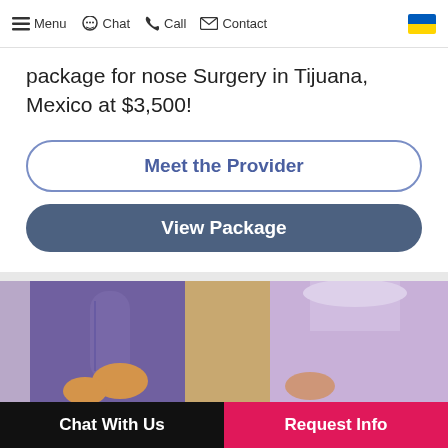Menu  Chat  Call  Contact
package for nose Surgery in Tijuana, Mexico at $3,500!
Meet the Provider
View Package
[Figure (photo): Two medical professionals in surgical scrubs (purple/lavender) standing in an operating or clinical setting]
Chat With Us   Request Info